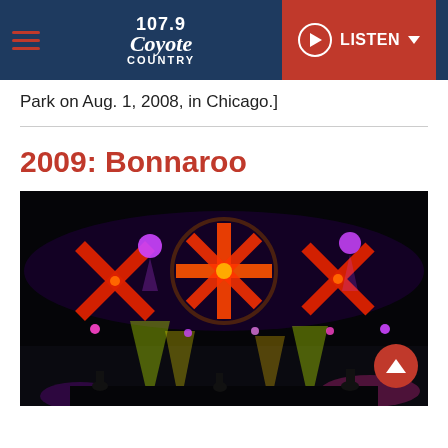107.9 Coyote Country — LISTEN
Park on Aug. 1, 2008, in Chicago.]
2009: Bonnaroo
[Figure (photo): Concert stage photo from Bonnaroo 2009 showing dramatic stage lighting with red X and asterisk light formations against a dark background, with colorful spotlights illuminating the stage and silhouetted performers.]